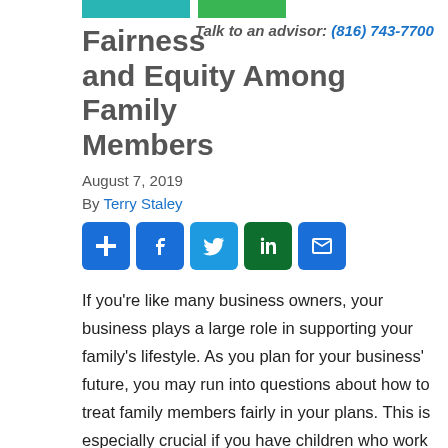[Figure (other): Two colored horizontal bars: teal and green, used as decorative header elements]
Talk to an advisor: (816) 743-7700
Fairness and Equity Among Family Members
August 7, 2019
By Terry Staley
[Figure (other): Social share buttons: Plus, Facebook, Twitter, LinkedIn, Email]
If you're like many business owners, your business plays a large role in supporting your family's lifestyle. As you plan for your business' future, you may run into questions about how to treat family members fairly in your plans. This is especially crucial if you have children who work in the business and children who do not work in the